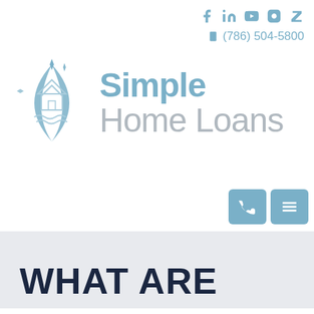[Figure (logo): Simple Home Loans logo with diamond/house icon in light blue and company name]
(786) 504-5800
WHAT ARE